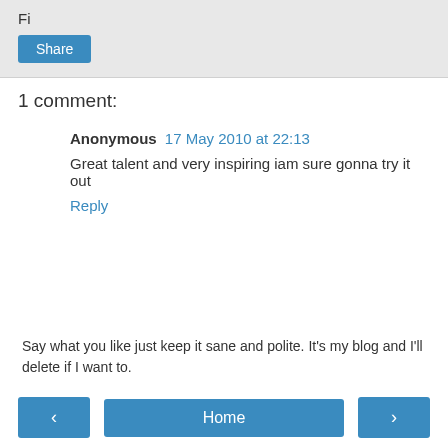Fi
Share
1 comment:
Anonymous  17 May 2010 at 22:13
Great talent and very inspiring iam sure gonna try it out
Reply
Say what you like just keep it sane and polite. It's my blog and I'll delete if I want to.
‹
Home
›